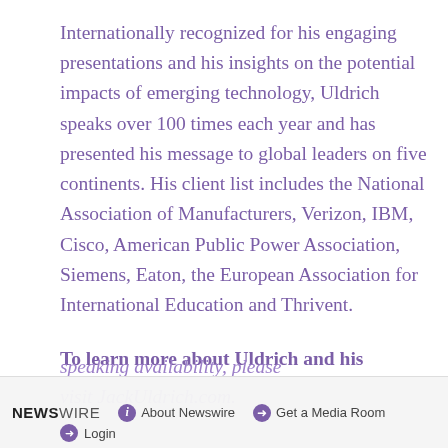Internationally recognized for his engaging presentations and his insights on the potential impacts of emerging technology, Uldrich speaks over 100 times each year and has presented his message to global leaders on five continents. His client list includes the National Association of Manufacturers, Verizon, IBM, Cisco, American Public Power Association, Siemens, Eaton, the European Association for International Education and Thrivent.
To learn more about Uldrich and his speaking availability, please visit JackUldrich.com.
NEWSWIRE   About Newswire   Get a Media Room   Login